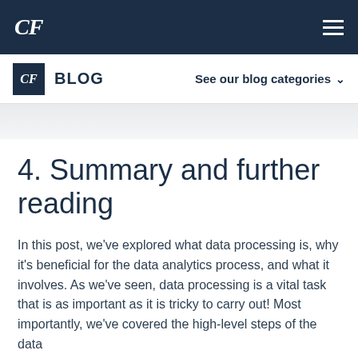CF
CF BLOG   See our blog categories
4. Summary and further reading
In this post, we've explored what data processing is, why it's beneficial for the data analytics process, and what it involves. As we've seen, data processing is a vital task that is as important as it is tricky to carry out! Most importantly, we've covered the high-level steps of the data